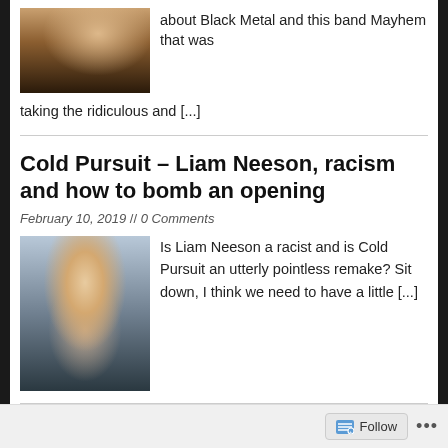about Black Metal and this band Mayhem that was taking the ridiculous and [...]
Cold Pursuit – Liam Neeson, racism and how to bomb an opening
February 10, 2019 // 0 Comments
[Figure (photo): Portrait photo of Liam Neeson wearing a fur-collared jacket]
Is Liam Neeson a racist and is Cold Pursuit an utterly pointless remake? Sit down, I think we need to have a little [...]
Radio ABC 666 Canberra – The Weekend Binge
3 December 2018
Follow